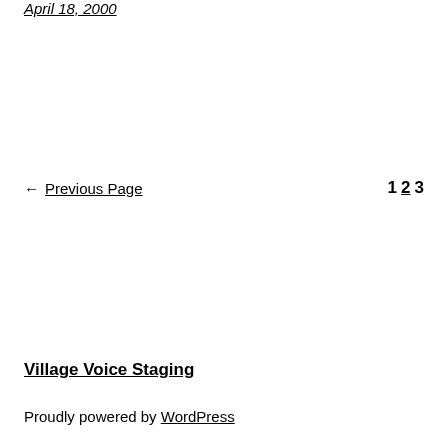April 18, 2000
← Previous Page   1 2 3
Village Voice Staging
Proudly powered by WordPress